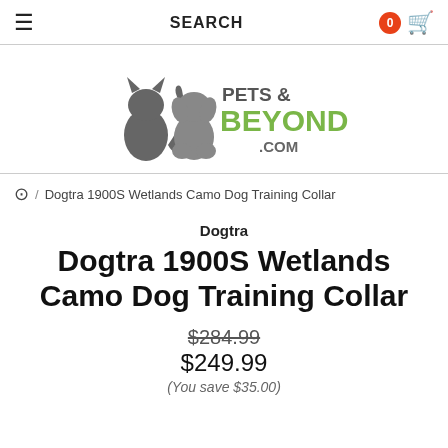SEARCH
[Figure (logo): Pets & Beyond .com logo with silhouette of a cat and dog]
/ Dogtra 1900S Wetlands Camo Dog Training Collar
Dogtra
Dogtra 1900S Wetlands Camo Dog Training Collar
$284.99
$249.99
(You save $35.00)